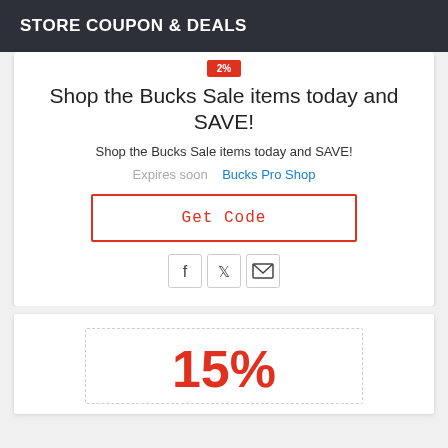STORE COUPON & DEALS
Shop the Bucks Sale items today and SAVE!
Shop the Bucks Sale items today and SAVE!
Expires soon   Bucks Pro Shop
Get Code
[Figure (other): Social share icons: Facebook, Twitter, Email]
15%